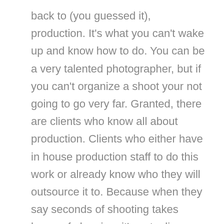back to (you guessed it), production. It's what you can't wake up and know how to do. You can be a very talented photographer, but if you can't organize a shoot your not going to go very far. Granted, there are clients who know all about production. Clients who either have in house production staff to do this work or already know who they will outsource it to. Because when they say seconds of shooting takes hours of planning, it's not a lie.

That said, reasons my clients love working